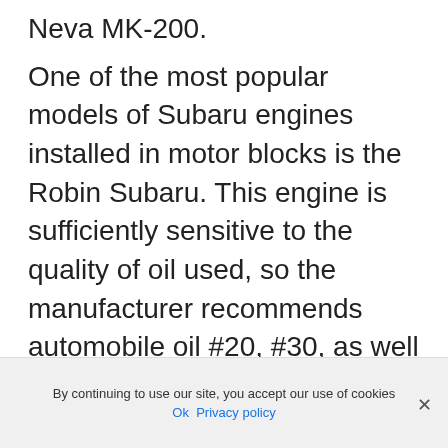Neva MK-200.
One of the most popular models of Subaru engines installed in motor blocks is the Robin Subaru. This engine is sufficiently sensitive to the quality of oil used, so the manufacturer recommends automobile oil #20, #30, as well as 10W-30 by SAE classification. Recommended oil grade is SE or better. The oil quality should be no worse than SG. So once again, asking the question: what oil to pour into the single-axle tractor Subaru, ideally you should give preference to oil marked SJ or SH
By continuing to use our site, you accept our use of cookies
Ok  Privacy policy